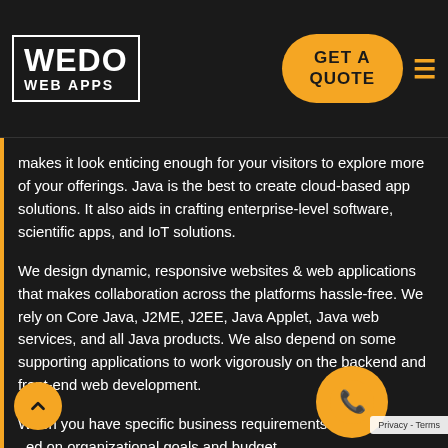[Figure (logo): WEDO WEB APPS logo in white text with border box]
GET A QUOTE
makes it look enticing enough for your visitors to explore more of your offerings. Java is the best to create cloud-based app solutions. It also aids in crafting enterprise-level software, scientific apps, and IoT solutions.
We design dynamic, responsive websites & web applications that makes collaboration across the platforms hassle-free. We rely on Core Java, J2ME, J2EE, Java Applet, Java web services, and all Java products. We also depend on some supporting applications to work vigorously on the backend and front-end web development.
When you have specific business requirements ed on organizational goals and budget, cast our development suite following the same. We are capable of designing the support